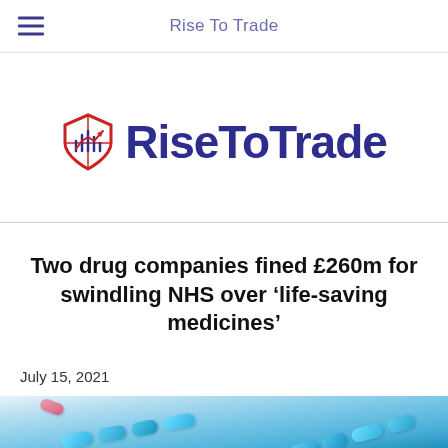Rise To Trade
[Figure (logo): RiseToTrade logo with a shield icon in red and dark blue, followed by bold dark blue text 'RiseToTrade']
Two drug companies fined £260m for swindling NHS over ‘life-saving medicines’
July 15, 2021
[Figure (photo): Close-up photo of blue capsule pills in blister packaging with a pink pill visible in the background]